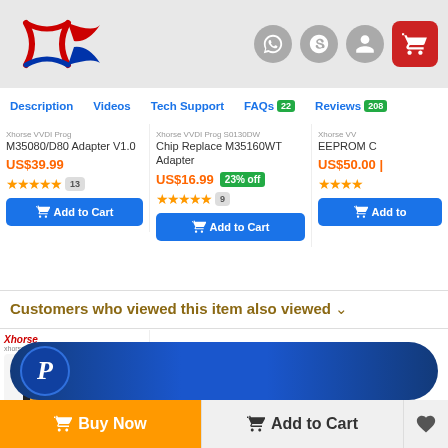Xhorse VVDI — Navigation: Description | Videos | Tech Support | FAQs 22 | Reviews 208
Xhorse VVDI Prog M35080/D80 Adapter V1.0 — US$39.99 — 13 reviews — Add to Cart
Xhorse VVDI Prog S0130DW Chip Replace M35160WT Adapter — US$16.99 — 23% off — 9 reviews — Add to Cart
Xhorse VVDI EEPROM Chip — US$50.00 — Add to Cart
Customers who viewed this item also viewed
[Figure (photo): Xhorse device product photo with yellow device and coins]
[Figure (photo): Green circuit board with ribbon cable]
[Figure (photo): White electronic module with wires]